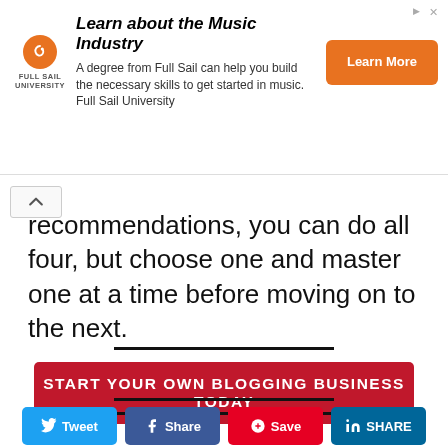[Figure (infographic): Full Sail University advertisement banner. Orange circular logo on left, bold headline 'Learn about the Music Industry', body text 'A degree from Full Sail can help you build the necessary skills to get started in music. Full Sail University', orange 'Learn More' button on right.]
recommendations, you can do all four, but choose one and master one at a time before moving on to the next.
[Figure (other): Horizontal black divider line]
[Figure (other): Red call-to-action button: START YOUR OWN BLOGGING BUSINESS TODAY]
[Figure (other): Horizontal black divider line]
[Figure (other): Horizontal black divider line]
[Figure (other): Social sharing buttons row: Tweet, Share, Save, SHARE]